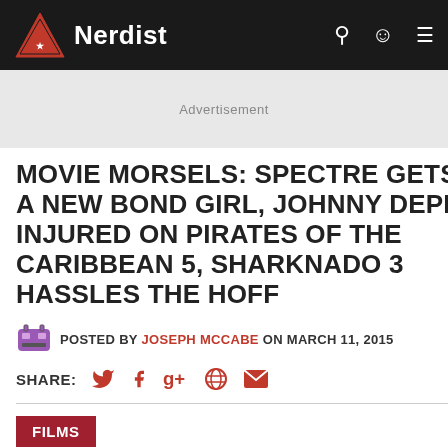Nerdist
[Figure (other): Advertisement banner placeholder, gray background]
MOVIE MORSELS: SPECTRE GETS A NEW BOND GIRL, JOHNNY DEPP INJURED ON PIRATES OF THE CARIBBEAN 5, SHARKNADO 3 HASSLES THE HOFF
POSTED BY JOSEPH MCCABE ON MARCH 11, 2015
SHARE: [Twitter] [Facebook] [Google+] [Reddit] [Email]
FILMS
Daniel Craig's next outing as 007 is getting bigger every day.